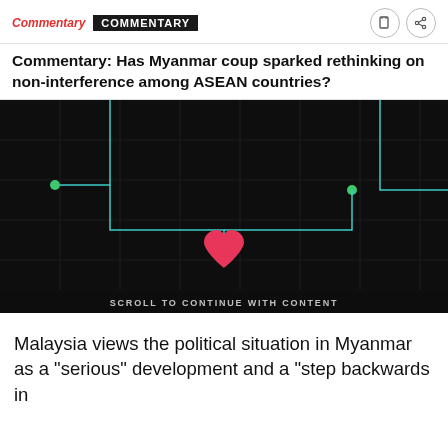Commentary | COMMENTARY
Commentary: Has Myanmar coup sparked rethinking on non-interference among ASEAN countries?
[Figure (illustration): Dark background graphic with teal circuit-board style lines connecting two green dots on the left and right sides, converging to a pink/red heart shape in the center-bottom. A grid pattern overlays the dark background. Text at the bottom reads 'SCROLL TO CONTINUE WITH CONTENT'.]
Malaysia views the political situation in Myanmar as a "serious" development and a "step backwards in